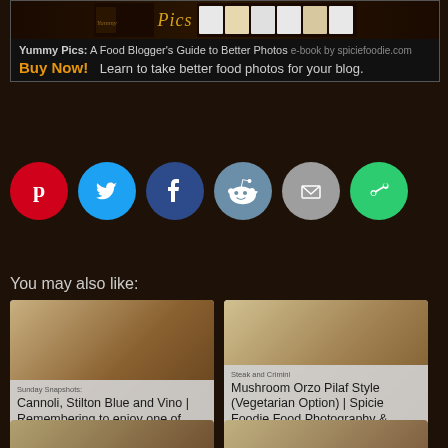[Figure (infographic): Advertisement banner for Yummy Pics e-book by spiciefoodie.com showing book cover images and text]
Yummy Pics: A Food Blogger's Guide to Better Photos e-book by spiciefoodie.com
Buy Now! Learn to take better food photos for your blog.
[Figure (infographic): Social media sharing icons: Pinterest (red), Twitter (blue), Facebook (dark blue), Reddit (slate blue), Email (grey), Share (green)]
You may also like:
Sunday Snapshots: Cannoli, Stilton Blue and Vino | Remembering to enjoy one of life's little pleasure | Spicie Foodie
Steak and Crimini Mushroom Orzo Pilaf Style (Vegetarian Option) | Spicie Foodie Food Photography & Healthy Recipes